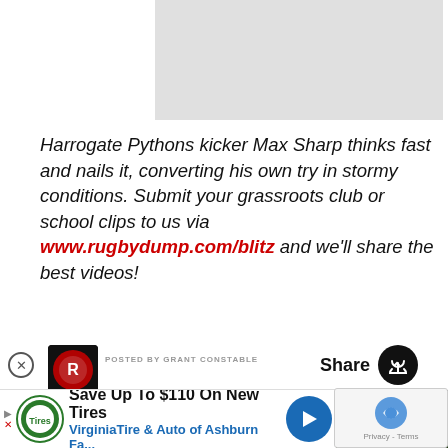[Figure (screenshot): Gray advertisement banner placeholder at top of page]
Harrogate Pythons kicker Max Sharp thinks fast and nails it, converting his own try in stormy conditions. Submit your grassroots club or school clips to us via www.rugbydump.com/blitz and we'll share the best videos!
[Figure (screenshot): Close button (X in circle) on left side]
[Figure (screenshot): Rugby club avatar logo (black circle with red/white design)]
POSTED BY GRANT CONSTABLE
[Figure (screenshot): Share button with circular arrow icon]
[Figure (screenshot): Video thumbnail showing rugby player on green field]
1 ONLINE • Sort By Be
[Figure (screenshot): Bottom advertisement: Save Up To $110 On New Tires - VirginiaTire & Auto of Ashburn Fa...]
[Figure (screenshot): reCAPTCHA widget with Privacy - Terms text]